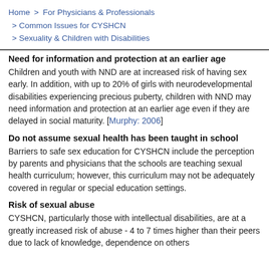Home > For Physicians & Professionals > Common Issues for CYSHCN > Sexuality & Children with Disabilities
Need for information and protection at an earlier age
Children and youth with NND are at increased risk of having sex early. In addition, with up to 20% of girls with neurodevelopmental disabilities experiencing precious puberty, children with NND may need information and protection at an earlier age even if they are delayed in social maturity. [Murphy: 2006]
Do not assume sexual health has been taught in school
Barriers to safe sex education for CYSHCN include the perception by parents and physicians that the schools are teaching sexual health curriculum; however, this curriculum may not be adequately covered in regular or special education settings.
Risk of sexual abuse
CYSHCN, particularly those with intellectual disabilities, are at a greatly increased risk of abuse - 4 to 7 times higher than their peers due to lack of knowledge, dependence on others